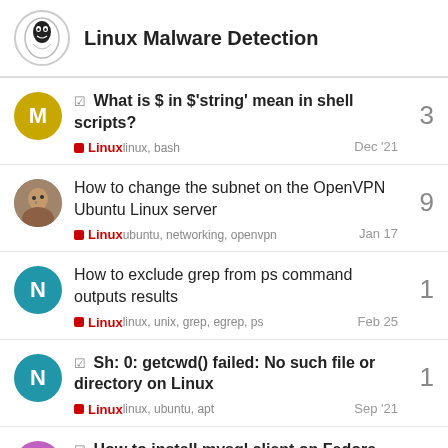Linux Malware Detection
What is $ in $'string' mean in shell scripts? | Linux | linux, bash | Dec '21 | 3 replies
How to change the subnet on the OpenVPN Ubuntu Linux server | Linux | ubuntu, networking, openvpn | Jan 17 | 9 replies
How to exclude grep from ps command outputs results | Linux | linux, unix, grep, egrep, ps | Feb 25 | 1 reply
Sh: 0: getcwd() failed: No such file or directory on Linux | Linux | linux, ubuntu, apt | Sep '21 | 1 reply
How to install mysql client on Fedora Linux | 2 replies